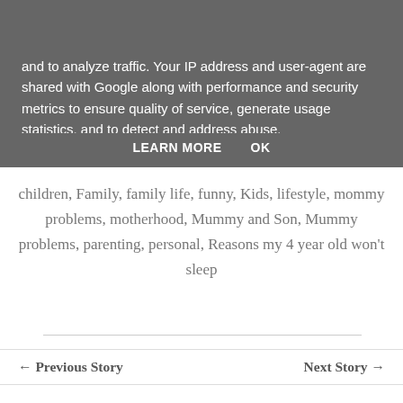Navigation bar with menu icon and search icon
and to analyze traffic. Your IP address and user-agent are shared with Google along with performance and security metrics to ensure quality of service, generate usage statistics, and to detect and address abuse.
LEARN MORE   OK
children, Family, family life, funny, Kids, lifestyle, mommy problems, motherhood, Mummy and Son, Mummy problems, parenting, personal, Reasons my 4 year old won't sleep
← Previous Story    Next Story →